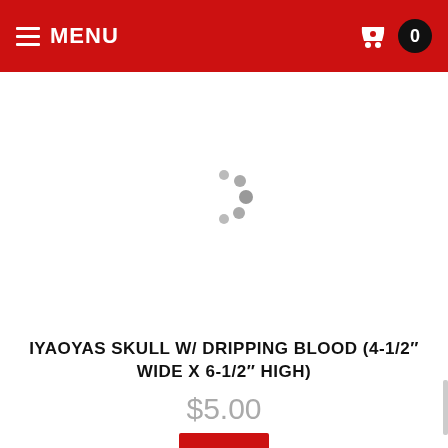MENU  0
[Figure (illustration): Loading spinner animation shown as grey dots in a circular arc pattern, indicating content is loading]
IYAOYAS SKULL W/ DRIPPING BLOOD (4-1/2" WIDE X 6-1/2" HIGH)
$5.00